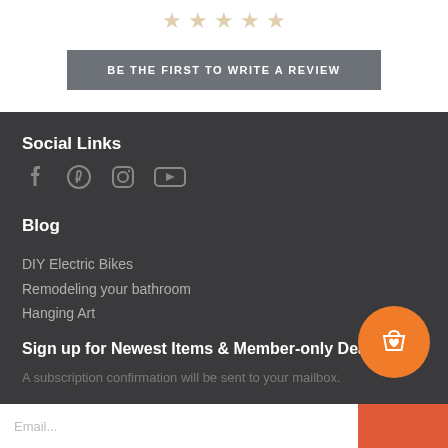[Figure (other): Five star rating icons (partially visible, muted gold color) at top of page]
BE THE FIRST TO WRITE A REVIEW
Social Links
[Figure (other): Social media icons: Facebook, Pinterest, Instagram, YouTube]
Blog
DIY Electric Bikes
Remodeling your bathroom
Hanging Art
Sign up for Newest Items & Member-only Deals
A subscription confirmation will be sent to your mailbox.
[Figure (other): Orange circular shopping bag with heart icon button]
Email input field with red submit button